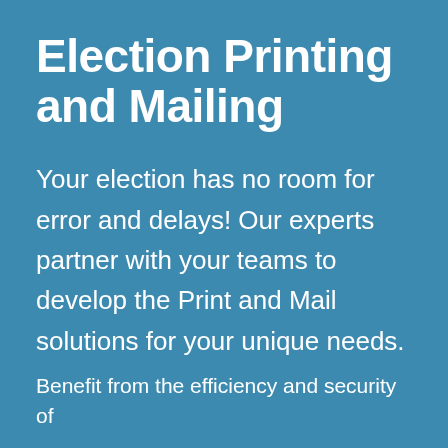Election Printing and Mailing
Your election has no room for error and delays! Our experts partner with your teams to develop the Print and Mail solutions for your unique needs.
Benefit from the efficiency and security of